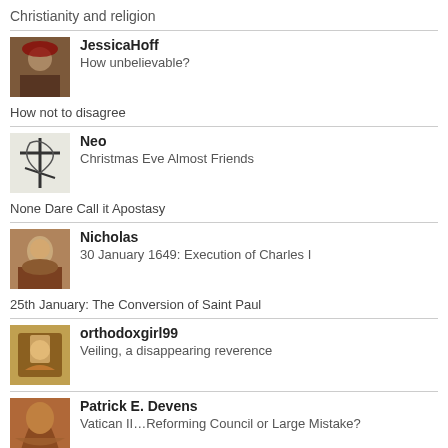Christianity and religion
JessicaHoff
How unbelievable?
How not to disagree
Neo
Christmas Eve Almost Friends
None Dare Call it Apostasy
Nicholas
30 January 1649: Execution of Charles I
25th January: The Conversion of Saint Paul
orthodoxgirl99
Veiling, a disappearing reverence
Patrick E. Devens
Vatican II…Reforming Council or Large Mistake?
The Origins of the Authority of the Pope (Part 2)
RichardM